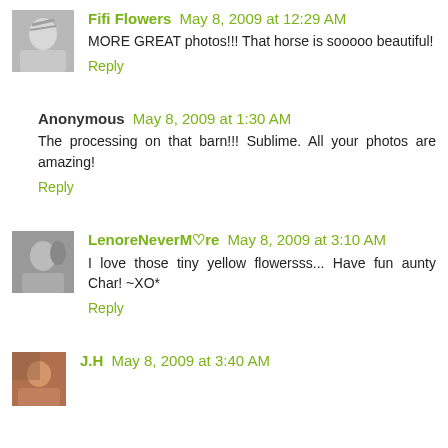Fifi Flowers May 8, 2009 at 12:29 AM
MORE GREAT photos!!! That horse is sooooo beautiful!
Reply
Anonymous May 8, 2009 at 1:30 AM
The processing on that barn!!! Sublime. All your photos are amazing!
Reply
LenoreNeverM♡re May 8, 2009 at 3:10 AM
I love those tiny yellow flowersss... Have fun aunty Char! ~XO*
Reply
J.H May 8, 2009 at 3:40 AM